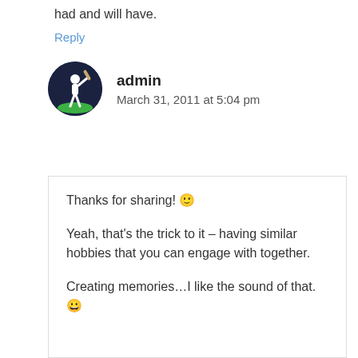had and will have.
Reply
admin
March 31, 2011 at 5:04 pm
Thanks for sharing! 🙂
Yeah, that's the trick to it – having similar hobbies that you can engage with together.
Creating memories…I like the sound of that. 😀